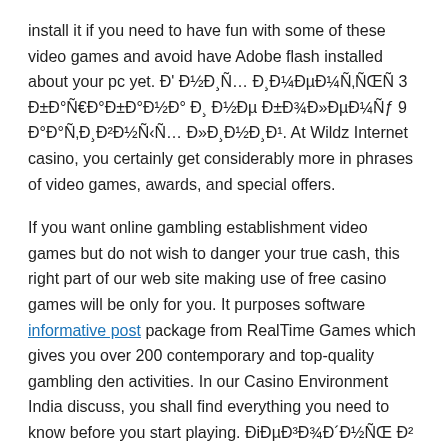install it if you need to have fun with some of these video games and avoid have Adobe flash installed about your pc yet. Đ' Đ½Đ¸Ñ… Đ¸Đ¼ĐµĐ¼Ñ‚ÑŒÑ 3 Đ±Đ°Ñ€Đ°Đ±Đ°Đ½Đ° Đ¸ Đ½Đµ Đ±Đ¾Đ»ĐµĐ¼Ñƒ 9 Đ°Đ°Ñ‚Đ¸Đ²Đ½Ñ‹Ñ… Đ»Đ¸Đ½Đ¸Đ¹. At Wildz Internet casino, you certainly get considerably more in phrases of video games, awards, and special offers.
If you want online gambling establishment video games but do not wish to danger your true cash, this right part of our web site making use of free casino games will be only for you. It purposes software informative post package from RealTime Games which gives you over 200 contemporary and top-quality gambling den activities. In our Casino Environment India discuss, you shall find everything you need to know before you start playing. ĐiĐµĐ³Đ¾Đ´Đ½ÑŒ Đ² Đ¸Đ½Đ¸ĐµÑ€Đ½Đ¼Ñ‹Đµ Ñ€ÑƒÑ†Đ¼ÑŒÑ‚Đ·ÑƒĐµÑ Đ¾Đ³Ñ€Đ¾Đ¼Đ½Đ¾Đµ Ñ‡Đ¸Ñ€Ñ€Đ»Đ¾ Đ¾Đ¾Đ½Đ»Đ°Đ¹Đ½ Đ°Đ°Đ°Đ¸Đ½Đ¾, Đ°Đ¾Ñ‚Đ¾Ñ€Ñ‹Đµ Đ¿Ñ€ĐµĐ´Đ»Đ°Đ³Đ°ÑŽÑ‚ Đ±ĐµÑ Đ¿Đ»Đ°Ñ‚Đ½Ñ‹Đµ Đ·Đ°Ñ†Đ¸Đ¾Đ½Đ°Đ»ÑŒÑ Đ¸Đ¾Đ½Đ½Ñ‹Đµ Đ¸Đ»Đ¸ Đ¸.